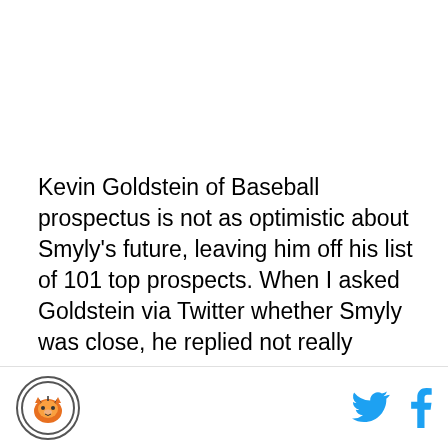Kevin Goldstein of Baseball prospectus is not as optimistic about Smyly's future, leaving him off his list of 101 top prospects. When I asked Goldstein via Twitter whether Smyly was close, he replied not really
[Figure (logo): Circular team logo with a tiger illustration]